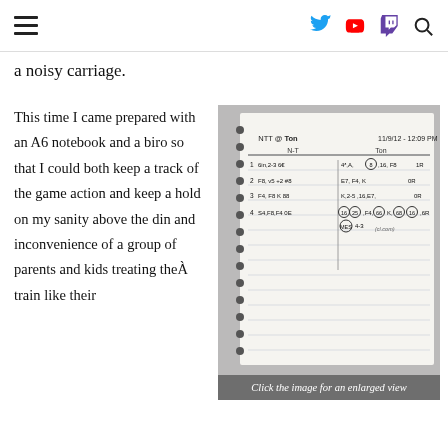Navigation bar with hamburger menu and social icons: Twitter, YouTube, Twitch, Search
a noisy carriage.
This time I came prepared with an A6 notebook and a biro so that I could both keep a track of the game action and keep a hold on my sanity above the din and inconvenience of a group of parents and kids treating theÂ train like their
[Figure (photo): A6 spiral-bound notebook with handwritten game notes, columns labeled with match details, circled scores and statistics in blue/black biro ink.]
Click the image for an enlarged view